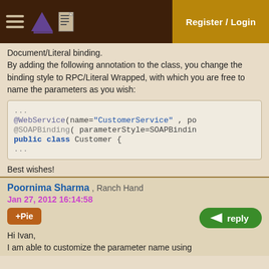Register / Login
Document/Literal binding.
By adding the following annotation to the class, you change the binding style to RPC/Literal Wrapped, with which you are free to name the parameters as you wish:
...
@WebService(name="CustomerService" , po
@SOAPBinding( parameterStyle=SOAPBindin
public class Customer {
...
Best wishes!
Poornima Sharma , Ranch Hand
Jan 27, 2012 16:14:58
Hi Ivan,
I am able to customize the parameter name using